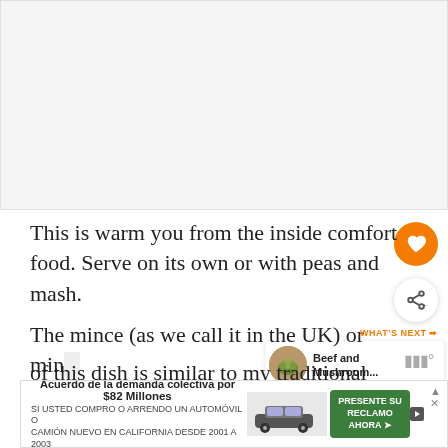[Figure (photo): Large food/recipe photo placeholder area, light gray background]
This is warm you from the inside comfort food. Serve on its own or with peas and mash.
The mince (as we call it in the UK) or mince of this dish is similar to my traditional shepherd's pie bu...
[Figure (other): Heart/favorite button (orange circle with white heart icon)]
[Figure (other): Share button (white circle with share icon)]
[Figure (other): What's Next panel showing Beef and Mushroom... recipe thumbnail]
[Figure (other): Advertisement banner: Acuerdo de la demanda colectiva por $82 Millones - car advertisement in Spanish]